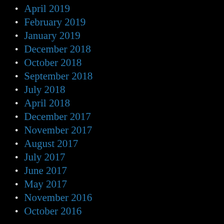April 2019
February 2019
January 2019
December 2018
October 2018
September 2018
July 2018
April 2018
December 2017
November 2017
August 2017
July 2017
June 2017
May 2017
November 2016
October 2016